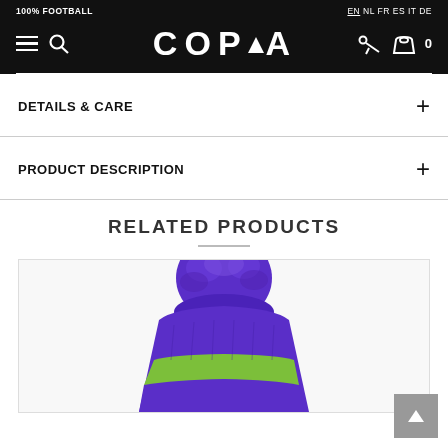100% FOOTBALL | COPA | EN NL FR ES IT DE
DETAILS & CARE +
PRODUCT DESCRIPTION +
RELATED PRODUCTS
[Figure (photo): Top view of a purple and green knitted bobble/pom-pom winter hat]